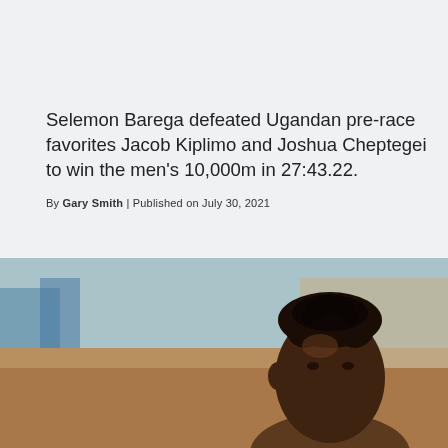Selemon Barega defeated Ugandan pre-race favorites Jacob Kiplimo and Joshua Cheptegei to win the men's 10,000m in 27:43.22.
By Gary Smith | Published on July 30, 2021
[Figure (photo): Close-up photo of an athlete (appears to be a runner) with short textured hair, shown from the shoulders up. Background shows blurred crowd and track environment in warm brown/orange tones. A red Pinterest Save button overlays the bottom-left of the image.]